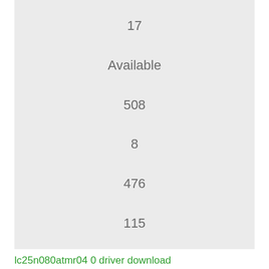17
Available
508
8
476
115
lc25n080atmr04 0 driver download